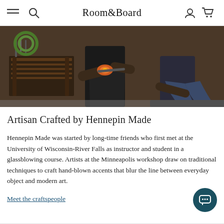Room&Board
[Figure (photo): Two craftspeople working in a glassblowing workshop. On the left, wooden tables and tools. In the center, a person in an apron handling a glowing orange glass piece. On the right, another person kneeling on a rubber mat.]
Artisan Crafted by Hennepin Made
Hennepin Made was started by long-time friends who first met at the University of Wisconsin-River Falls as instructor and student in a glassblowing course. Artists at the Minneapolis workshop draw on traditional techniques to craft hand-blown accents that blur the line between everyday object and modern art.
Meet the craftspeople